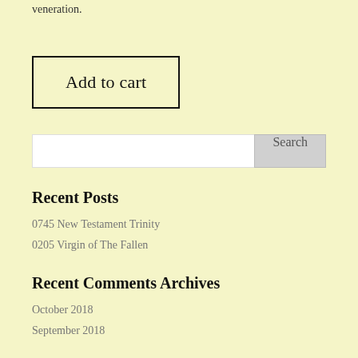veneration.
Add to cart
Search
Recent Posts
0745 New Testament Trinity
0205 Virgin of The Fallen
Recent Comments
Archives
October 2018
September 2018